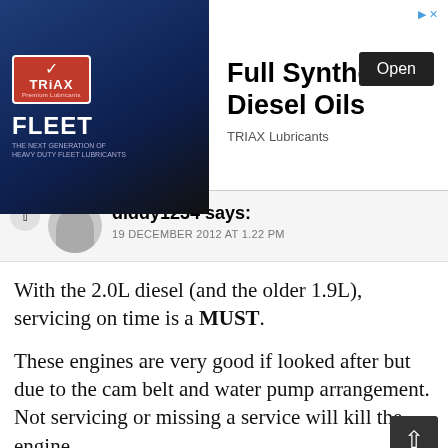[Figure (other): TRIAX Fleet lubricants advertisement banner with logo, product image, and 'Full Synthetic Diesel Oils' headline with Open button]
diddy1234 says:
19 DECEMBER 2012 AT 1.22 PM
With the 2.0L diesel (and the older 1.9L), servicing on time is a MUST.
These engines are very good if looked after but due to the cam belt and water pump arrangement.
Not servicing or missing a service will kill the engine.
The 1.7l is an older Isuzu design that is a